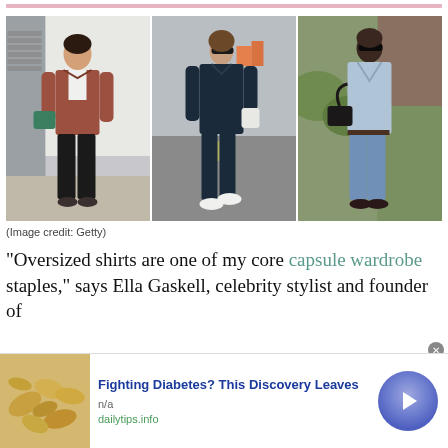[Figure (photo): Three women wearing oversized shirts in street style photography. Left: woman in rust/terracotta oversized shirt with black trousers and green bag. Middle: woman walking in all navy oversized shirt and trousers with white sneakers and white bag. Right: woman in light blue oversized shirt with denim trousers and sandals.]
(Image credit: Getty)
“Oversized shirts are one of my core capsule wardrobe staples,” says Ella Gaskell, celebrity stylist and founder of
[Figure (infographic): Advertisement banner: Fighting Diabetes? This Discovery Leaves — n/a — dailytips.info. Shows cashews image on left and purple circle button with arrow on right.]